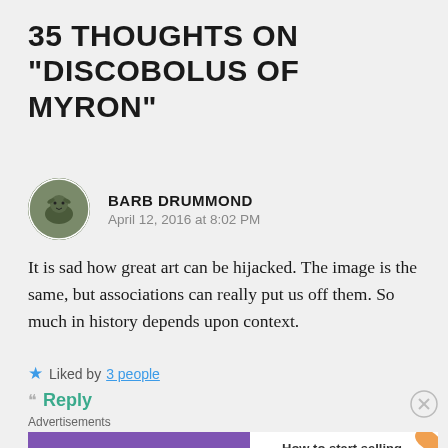35 THOUGHTS ON "DISCOBOLUS OF MYRON"
[Figure (photo): Circular avatar photo of Barb Drummond, showing a small animal (squirrel) on a green background]
BARB DRUMMOND
April 12, 2016 at 8:02 PM
It is sad how great art can be hijacked. The image is the same, but associations can really put us off them. So much in history depends upon context.
Liked by 3 people
Reply
[Figure (screenshot): WooCommerce advertisement banner: 'How to start selling subscriptions online']